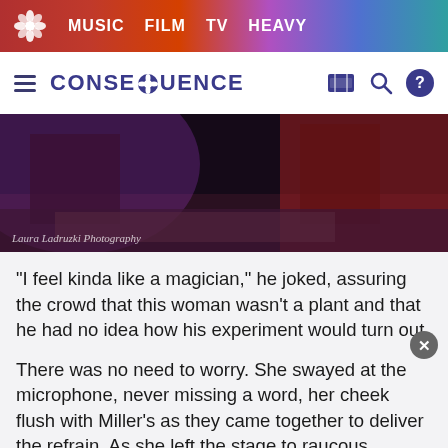MUSIC   FILM   TV   HEAVY
CONSEQUENCE
[Figure (photo): Concert stage photo with performers under purple and red lighting, watermark reads 'Laura Ladruzki Photography']
“I feel kinda like a magician,” he joked, assuring the crowd that this woman wasn't a plant and that he had no idea how his experiment would turn out.
There was no need to worry. She swayed at the microphone, never missing a word, her cheek flush with Miller’s as they came together to deliver the refrain. As she left the stage to raucous